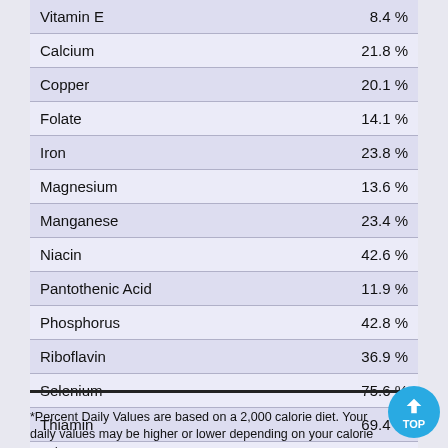| Nutrient | % Daily Value |
| --- | --- |
| Vitamin E | 8.4 % |
| Calcium | 21.8 % |
| Copper | 20.1 % |
| Folate | 14.1 % |
| Iron | 23.8 % |
| Magnesium | 13.6 % |
| Manganese | 23.4 % |
| Niacin | 42.6 % |
| Pantothenic Acid | 11.9 % |
| Phosphorus | 42.8 % |
| Riboflavin | 36.9 % |
| Selenium | 75.6 % |
| Thiamin | 69.4 % |
| Zinc | 38.0 % |
*Percent Daily Values are based on a 2,000 calorie diet. Your daily values may be higher or lower depending on your calorie needs.